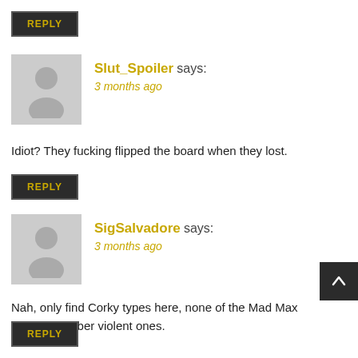REPLY
Slut_Spoiler says:
3 months ago
Idiot? They fucking flipped the board when they lost.
REPLY
SigSalvadore says:
3 months ago
Nah, only find Corky types here, none of the Mad Max Fury Road uber violent ones.
REPLY